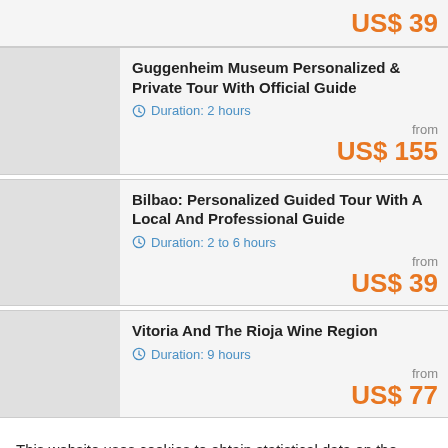US$ 39
Guggenheim Museum Personalized & Private Tour With Official Guide
Duration: 2 hours
from US$ 155
Bilbao: Personalized Guided Tour With A Local And Professional Guide
Duration: 2 to 6 hours
from US$ 39
Vitoria And The Rioja Wine Region
Duration: 9 hours
from US$ 77
This website uses cookies to obtain statistical data on the navigation of its users. If you continue browsing we consider that you accept its use. More information in privacy policies
✕ Accept and close